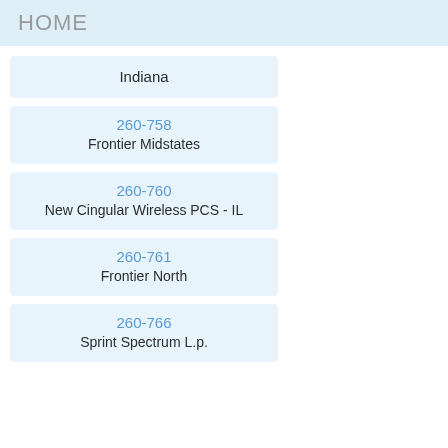HOME
Indiana
260-758
Frontier Midstates
260-760
New Cingular Wireless PCS - IL
260-761
Frontier North
260-766
Sprint Spectrum L.p.